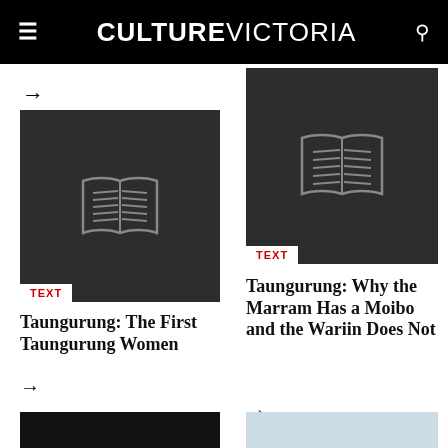CULTURE VICTORIA
→
[Figure (screenshot): Dark grey card thumbnail with open book icon and TEXT label overlay]
TEXT
Taungurung: The First Taungurung Women
→
[Figure (screenshot): Dark grey card thumbnail with open book icon and TEXT label overlay]
TEXT
Taungurung: Why the Marram Has a Moibo and the Wariin Does Not
→
[Figure (screenshot): Dark bottom-left card thumbnail]
[Figure (screenshot): Light blue-grey bottom-right card thumbnail]